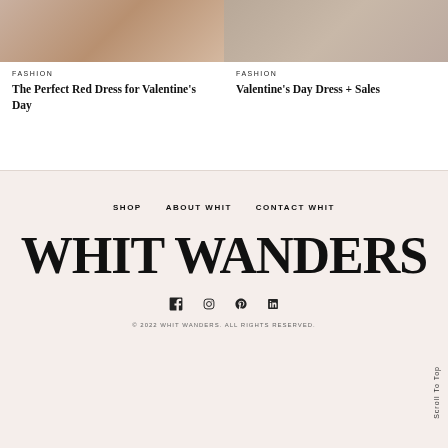[Figure (photo): Two fashion article card images side by side at top]
FASHION
The Perfect Red Dress for Valentine's Day
FASHION
Valentine's Day Dress + Sales
SHOP   ABOUT WHIT   CONTACT WHIT
WHIT WANDERS
[Figure (other): Social media icons: Facebook, Instagram, Pinterest, LinkedIn]
© 2022 WHIT WANDERS. ALL RIGHTS RESERVED.
Scroll To Top